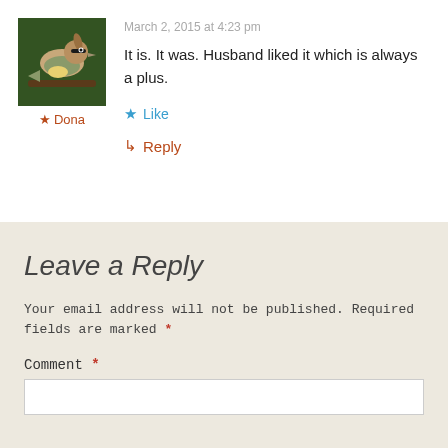March 2, 2015 at 4:23 pm
[Figure (photo): Photo of a cedar waxwing bird perched on a branch]
★ Dona
It is. It was. Husband liked it which is always a plus.
★ Like
↳ Reply
Leave a Reply
Your email address will not be published. Required fields are marked *
Comment *